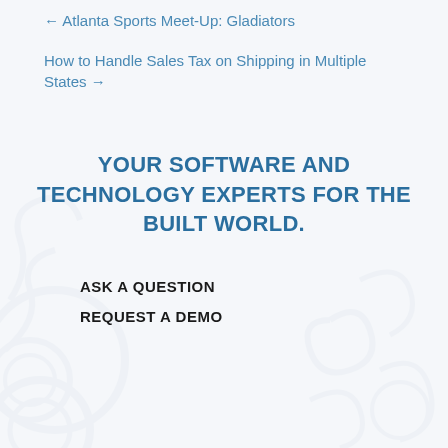← Atlanta Sports Meet-Up: Gladiators
How to Handle Sales Tax on Shipping in Multiple States →
YOUR SOFTWARE AND TECHNOLOGY EXPERTS FOR THE BUILT WORLD.
ASK A QUESTION
REQUEST A DEMO
[Figure (other): Social media icons for LinkedIn, Twitter, and YouTube]